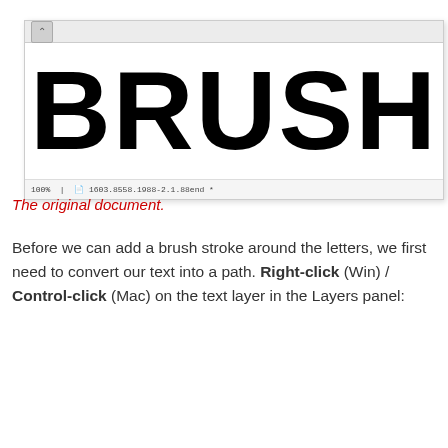[Figure (screenshot): Screenshot of a document editor showing the word BRUSH in large bold black text on a white background, with a toolbar/status bar at the bottom showing zoom level and file name.]
The original document.
Before we can add a brush stroke around the letters, we first need to convert our text into a path. Right-click (Win) / Control-click (Mac) on the text layer in the Layers panel: